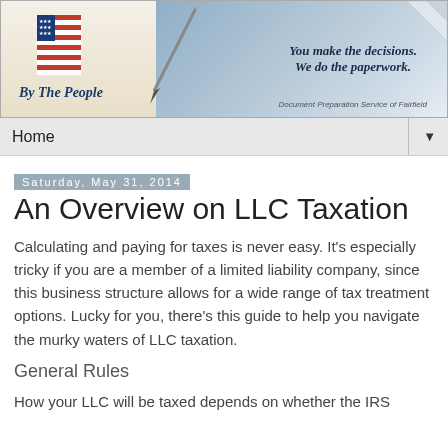[Figure (illustration): Banner header for 'By The People' document preparation service. Left side shows an American flag illustration on aged parchment background with italic text 'By The People'. Right side has blue textured background with a pen illustration and italic bold text 'You make the decisions. We do the paperwork.' and small text 'Document Preparation Service of Fairfield'. Top-right corner has a page-curl effect.]
Home ▼
Saturday, May 31, 2014
An Overview on LLC Taxation
Calculating and paying for taxes is never easy. It's especially tricky if you are a member of a limited liability company, since this business structure allows for a wide range of tax treatment options. Lucky for you, there's this guide to help you navigate the murky waters of LLC taxation.
General Rules
How your LLC will be taxed depends on whether the IRS considers...